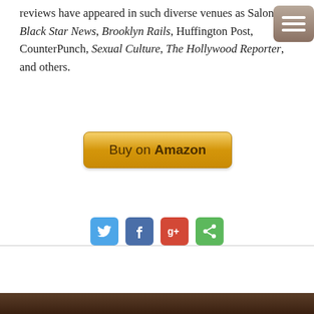reviews have appeared in such diverse venues as Salon, Black Star News, Brooklyn Rails, Huffington Post, CounterPunch, Sexual Culture, The Hollywood Reporter, and others.
[Figure (other): Buy on Amazon button - golden gradient rectangular button]
[Figure (other): Social sharing icons: Twitter (blue), Facebook (blue), Google+ (red), Share (green)]